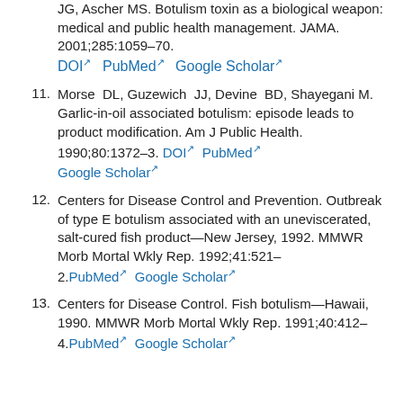(partial) JG, Ascher MS. Botulism toxin as a biological weapon: medical and public health management. JAMA. 2001;285:1059–70. DOI PubMed Google Scholar
11. Morse DL, Guzewich JJ, Devine BD, Shayegani M. Garlic-in-oil associated botulism: episode leads to product modification. Am J Public Health. 1990;80:1372–3. DOI PubMed Google Scholar
12. Centers for Disease Control and Prevention. Outbreak of type E botulism associated with an uneviscerated, salt-cured fish product—New Jersey, 1992. MMWR Morb Mortal Wkly Rep. 1992;41:521–2. PubMed Google Scholar
13. Centers for Disease Control. Fish botulism—Hawaii, 1990. MMWR Morb Mortal Wkly Rep. 1991;40:412–4. PubMed Google Scholar